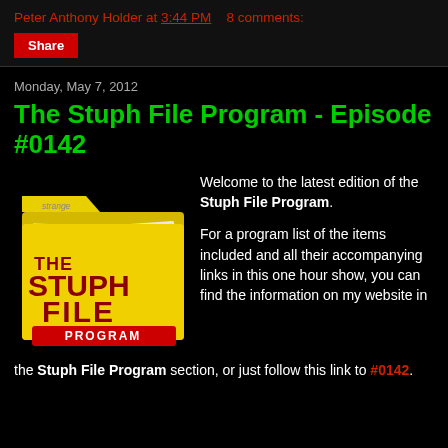Peter Anthony Holder at 3:44 PM   8 comments:
Share
Monday, May 7, 2012
The Stuph File Program - Episode #0142
[Figure (logo): The Stuph File Program logo — a yellow folder with 'strange' tab, red/dark-red text reading THE STUPH FILE PROGRAM on a red banner]
Welcome to the latest edition of the Stuph File Program.

For a program list of the items included and all their accompanying links in this one hour show, you can find the information on my website in the Stuph File Program section, or just follow this link to #0142.